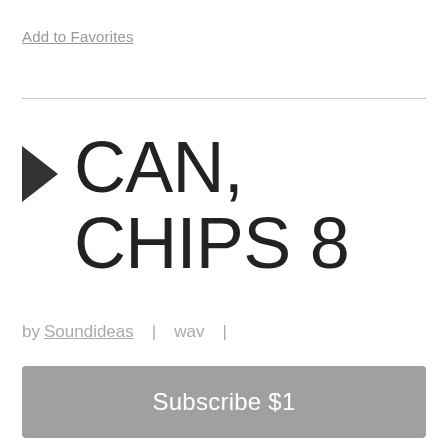Add to Favorites
CAN, CHIPS 8
by Soundideas | wav | 0:01 |
Subscribe $1